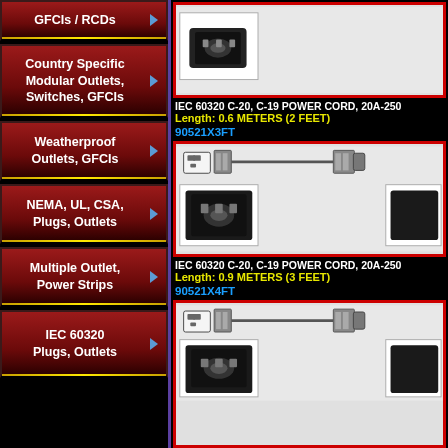GFCIs / RCDs
Country Specific Modular Outlets, Switches, GFCIs
Weatherproof Outlets, GFCIs
NEMA, UL, CSA, Plugs, Outlets
Multiple Outlet, Power Strips
IEC 60320 Plugs, Outlets
[Figure (photo): IEC 60320 C-20 to C-19 power cord connector photo]
IEC 60320 C-20, C-19 POWER CORD, 20A-250
Length: 0.6 METERS (2 FEET)
90521X3FT
[Figure (illustration): IEC 60320 C-20 to C-19 power cord diagram with connector photo - 0.9 METERS]
IEC 60320 C-20, C-19 POWER CORD, 20A-250
Length: 0.9 METERS (3 FEET)
90521X4FT
[Figure (illustration): IEC 60320 C-20 to C-19 power cord diagram with connector photo - 4FT]